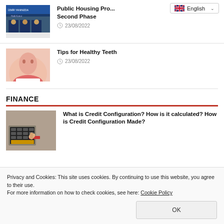[Figure (photo): Photo of people at a press conference with banner reading IZMIR YANINIZDA]
Public Housing Pro... Second Phase
23/08/2022
[Figure (photo): Close-up photo of a person smiling showing healthy teeth]
Tips for Healthy Teeth
23/08/2022
FINANCE
[Figure (photo): Photo of hands typing on a calculator/keyboard]
What is Credit Configuration? How is it calculated? How is Credit Configuration Made?
Privacy and Cookies: This site uses cookies. By continuing to use this website, you agree to their use.
For more information on how to check cookies, see here: Cookie Policy